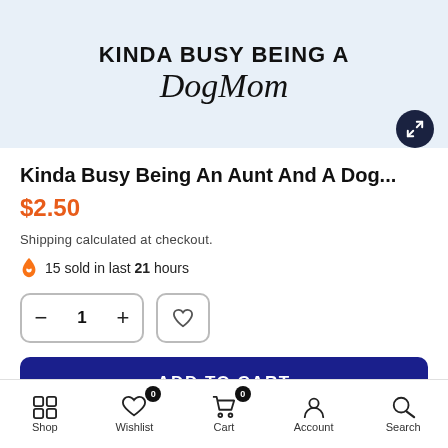[Figure (illustration): Product image showing text 'KINDA BUSY BEING A DogMom' with decorative watermark text in background and an expand/zoom button in the top-right corner]
Kinda Busy Being An Aunt And A Dog...
$2.50
Shipping calculated at checkout.
🔥 15 sold in last 21 hours
ADD TO CART
Shop   Wishlist (0)   Cart (0)   Account   Search